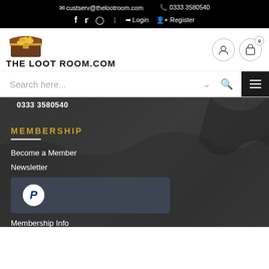custserv@thelootroom.com  0333 3580540
f  Twitter  Instagram  Login  Register
[Figure (logo): The Loot Room logo with treasure chest graphic and text THELOOTROOM.COM]
Search here...
0333 3580540
MEMBERSHIP
Become a Member
Newsletter
[Figure (logo): PayPal button with P logo on dark background]
Membership Info